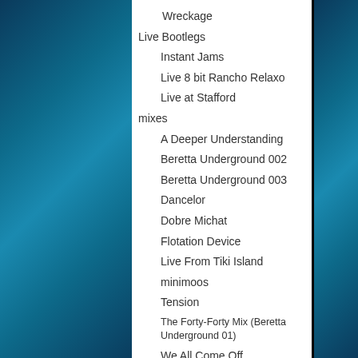Wreckage
Live Bootlegs
Instant Jams
Live 8 bit Rancho Relaxo
Live at Stafford
mixes
A Deeper Understanding
Beretta Underground 002
Beretta Underground 003
Dancelor
Dobre Michat
Flotation Device
Live From Tiki Island
minimoos
Tension
The Forty-Forty Mix (Beretta Underground 01)
We All Come Off
WIP20040920
WIP20050202 Andel
WIP20050426
remixes
remixes and covers
singles